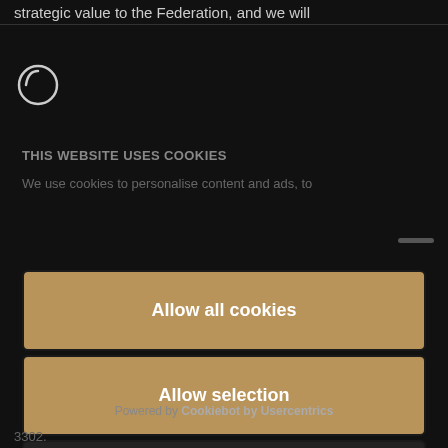strategic value to the Federation, and we will
[Figure (logo): Circular logo icon, dark background with white circle outline]
THIS WEBSITE USES COOKIES
We use cookies to personalise content and ads, to
Allow all cookies
Allow selection
Deny
Powered by Cookiebot by Usercentrics
3302.